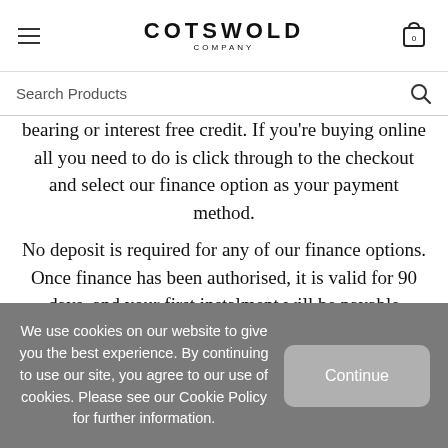COTSWOLD COMPANY
Search Products
bearing or interest free credit. If you're buying online all you need to do is click through to the checkout and select our finance option as your payment method.
No deposit is required for any of our finance options. Once finance has been authorised, it is valid for 90 days, and your first instalment will be payable approximately 30 days after your order has been delivered. You can
We use cookies on our website to give you the best experience. By continuing to use our site, you agree to our use of cookies. Please see our Cookie Policy for further information.